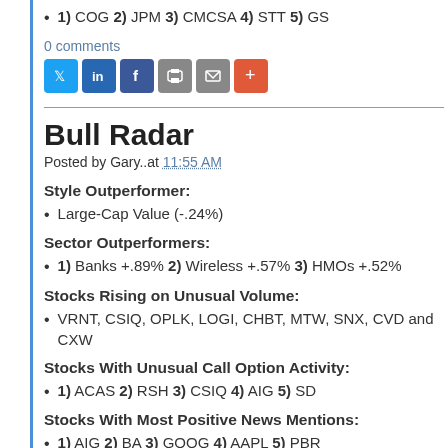1) COG 2) JPM 3) CMCSA 4) STT 5) GS
0 comments
[Figure (infographic): Social sharing icons: Twitter (blue), LinkedIn (blue), Facebook (blue), Print (gray), Email (gray), More (orange-red)]
Bull Radar
Posted by Gary..at 11:55 AM
Style Outperformer:
Large-Cap Value (-.24%)
Sector Outperformers:
1) Banks +.89% 2) Wireless +.57% 3) HMOs +.52%
Stocks Rising on Unusual Volume:
VRNT, CSIQ, OPLK, LOGI, CHBT, MTW, SNX, CVD and CXW
Stocks With Unusual Call Option Activity:
1) ACAS 2) RSH 3) CSIQ 4) AIG 5) SD
Stocks With Most Positive News Mentions:
1) AIG 2) BA 3) GOOG 4) AAPL 5) PBR